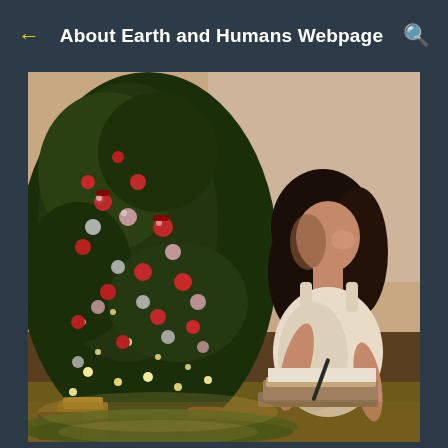About Earth and Humans Webpage
[Figure (photo): A young girl with long hair sitting beside a decorated Christmas tree, writing in a book or on paper. The tree is adorned with red and silver ornaments and string lights. The scene has warm, sepia-toned lighting.]